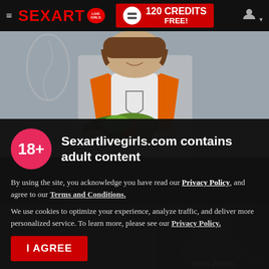≡ SEXART LIVE GIRLS | 120 CREDITS FREE!
[Figure (photo): Hero image of woman holding vegetables, wearing orange and white outfit, blurred background with decorative elements]
Sexartlivegirls.com contains adult content
By using the site, you acknowledge you have read our Privacy Policy, and agree to our Terms and Conditions.
We use cookies to optimize your experience, analyze traffic, and deliver more personalized service. To learn more, please see our Privacy Policy.
I AGREE
[Figure (photo): Thumbnail images of models at the bottom of the page, with name 'Holly Adam' visible]